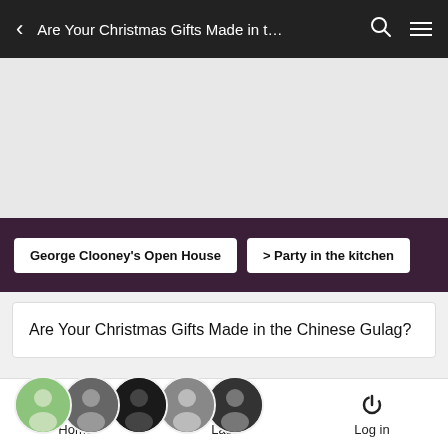Are Your Christmas Gifts Made in t…
[Figure (other): Ad banner placeholder area (gray)]
George Clooney's Open House  > Party in the kitchen
Are Your Christmas Gifts Made in the Chinese Gulag?
[Figure (photo): 5 circular avatar photos of forum posters]
5 posters
Home   Last   Log in